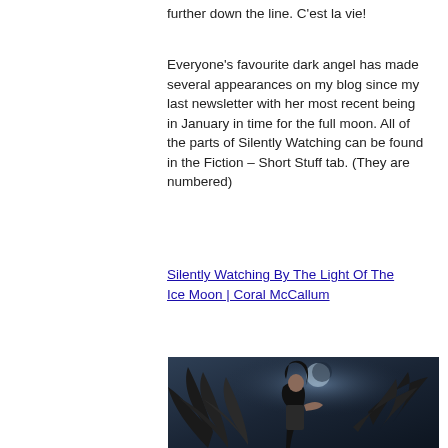further down the line. C'est la vie!
Everyone's favourite dark angel has made several appearances on my blog since my last newsletter with her most recent being in January in time for the full moon. All of the parts of Silently Watching can be found in the Fiction – Short Stuff tab. (They are numbered)
Silently Watching By The Light Of The Ice Moon | Coral McCallum
[Figure (illustration): Dark angel illustration showing a woman with large black wings against a moonlit dark blue background]